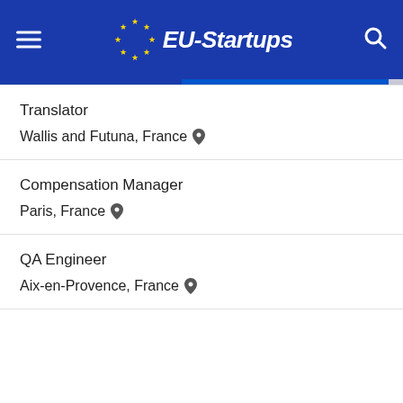[Figure (logo): EU-Startups website header with blue background, hamburger menu icon on left, EU-Startups logo in center with gold stars circle and white italic text, search icon on right]
Translator
Wallis and Futuna, France
Compensation Manager
Paris, France
QA Engineer
Aix-en-Provence, France